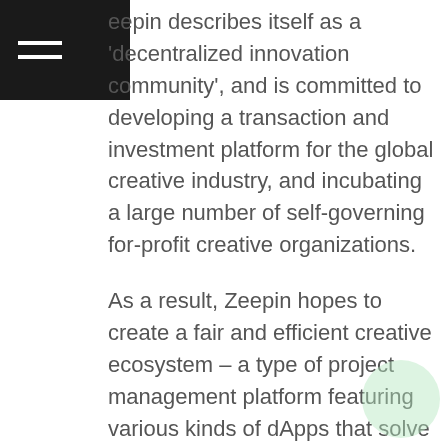Zeepin describes itself as a 'decentralized innovation community', and is committed to developing a transaction and investment platform for the global creative industry, and incubating a large number of self-governing for-profit creative organizations.
As a result, Zeepin hopes to create a fair and efficient creative ecosystem – a type of project management platform featuring various kinds of dApps that solve problems related to the protection of innovation copyright, remote cooperation, talent recruitment, and project financing.